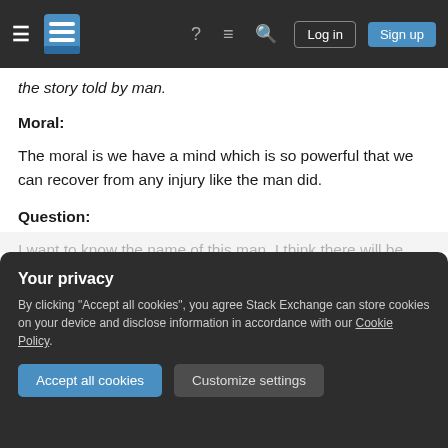Stack Exchange navigation bar with hamburger menu, logo, help, chat, search icons, Log in and Sign up buttons
the story told by man.
Moral:
The moral is we have a mind which is so powerful that we can recover from any injury like the man did.
Question:
I want to know the name of this man. I think there will be somebody who knows this man.
Your privacy
By clicking "Accept all cookies", you agree Stack Exchange can store cookies on your device and disclose information in accordance with our Cookie Policy.
Accept all cookies
Customize settings